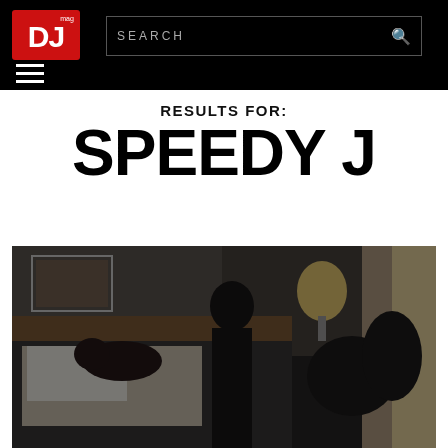[Figure (screenshot): DJ Mag website header with black background, DJ Mag logo (red square with white DJ text), search bar, and hamburger menu icon]
RESULTS FOR:
SPEEDY J
[Figure (photo): Dark moody hotel room photo showing silhouetted figures on a bed with a lamp and curtained window in the background]